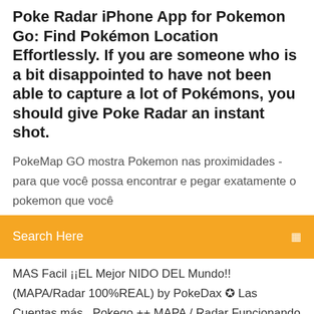Poke Radar iPhone App for Pokemon Go: Find Pokémon Location Effortlessly. If you are someone who is a bit disappointed to have not been able to capture a lot of Pokémons, you should give Poke Radar an instant shot.
PokeMap GO mostra Pokemon nas proximidades - para que você possa encontrar e pegar exatamente o pokemon que você
[Figure (screenshot): Orange search bar UI element with 'Search Here' placeholder text and a search icon on the right]
MAS Facil ¡¡EL Mejor NIDO DEL Mundo!! (MAPA/Radar 100%REAL) by PokeDax ✪ Las Cuentas más...Pokego ++ MAPA / Radar Funcionando EN Pokemon GO | Radares... https://youtube.com/watch?v=PbUHBZ4BeF4POKE ++ EL Unico MAPA Funcionando Pokémon GO para encontrar a Todos LOS Pokemon ,Pokémon GO en VIVO BY Noska ???Compra Cuentas Pokemon GO A Exelentes PREC... ¡Metodo Infinito! COMO Conseguir Incubadoras Gratis... ¡Mejor Metodo! COMO Conseguir Poke monedas / Incubadoras Gratis EN Pokemon GO